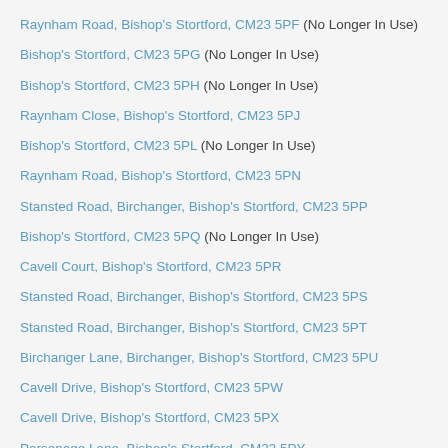Raynham Road, Bishop's Stortford, CM23 5PF (No Longer In Use)
Bishop's Stortford, CM23 5PG (No Longer In Use)
Bishop's Stortford, CM23 5PH (No Longer In Use)
Raynham Close, Bishop's Stortford, CM23 5PJ
Bishop's Stortford, CM23 5PL (No Longer In Use)
Raynham Road, Bishop's Stortford, CM23 5PN
Stansted Road, Birchanger, Bishop's Stortford, CM23 5PP
Bishop's Stortford, CM23 5PQ (No Longer In Use)
Cavell Court, Bishop's Stortford, CM23 5PR
Stansted Road, Birchanger, Bishop's Stortford, CM23 5PS
Stansted Road, Birchanger, Bishop's Stortford, CM23 5PT
Birchanger Lane, Birchanger, Bishop's Stortford, CM23 5PU
Cavell Drive, Bishop's Stortford, CM23 5PW
Cavell Drive, Bishop's Stortford, CM23 5PX
Parsonage Lane, Bishop's Stortford, CM23 5PY